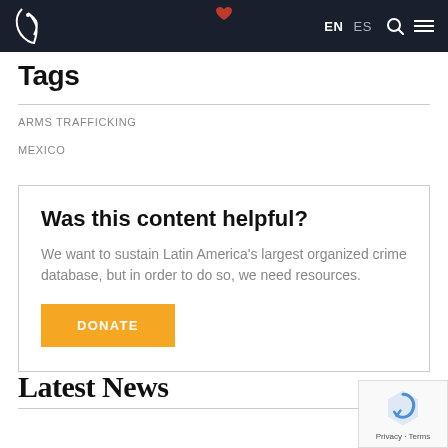EN ES
Tags
ARMS TRAFFICKING
MEXICO
Was this content helpful?
We want to sustain Latin America’s largest organized crime database, but in order to do so, we need resources.
DONATE
Latest News